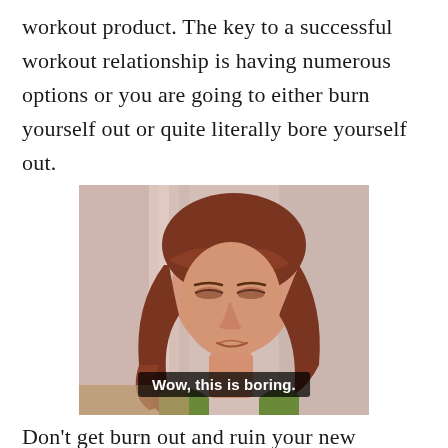workout product. The key to a successful workout relationship is having numerous options or you are going to either burn yourself out or quite literally bore yourself out.
[Figure (photo): A woman with red/auburn curly hair looking downward with a bored or unimpressed expression, with a subtitle overlay reading 'Wow, this is boring.']
Don't get burn out and ruin your new healthy life style...